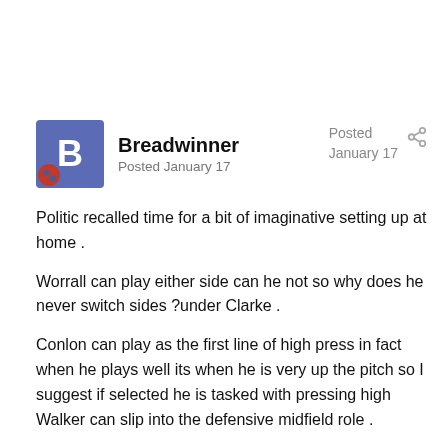Breadwinner
Posted January 17
Posted January 17
Politic recalled time for a bit of imaginative setting up at home .
Worrall can play either side can he not so why does he never switch sides ?under Clarke .
Conlon can play as the first line of high press in fact when he plays well its when he is very up the pitch so I suggest if selected he is tasked with pressing high Walker can slip into the defensive midfield role .
I know DC likes to play with 2 strikers but with the alarming amount of goals conceded lately I think just the one and players running off the one but he as to play well the lone striker.